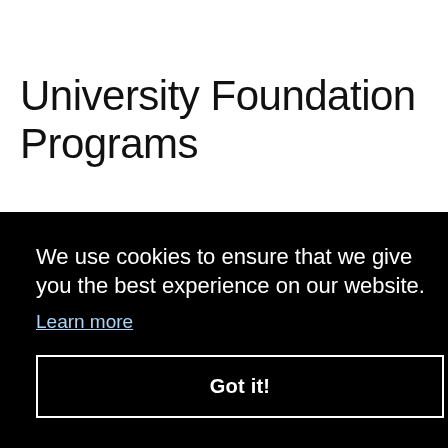University Foundation Programs
University Foundation Programs are designed for those students who have completed their high school or secondary education and are planning for their tertiary or
We use cookies to ensure that we give you the best experience on our website.
Learn more
Got it!